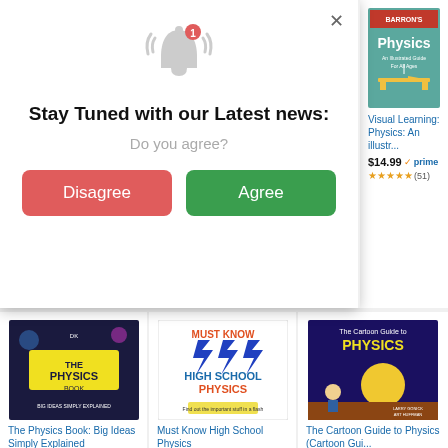[Figure (screenshot): Browser notification modal overlay with bell icon, title 'Stay Tuned with our Latest news:', subtitle 'Do you agree?', and two buttons: red 'Disagree' and green 'Agree'. Behind it is an Amazon product listing page for physics books.]
Stay Tuned with our Latest news:
Do you agree?
Disagree
Agree
Visual Learning: Physics: An illustr...
$14.99 prime
(51)
The Physics Book: Big Ideas Simply Explained
$9.99
Must Know High School Physics
$14.46 prime
The Cartoon Guide to Physics (Cartoon Gui...
$12.99 prime